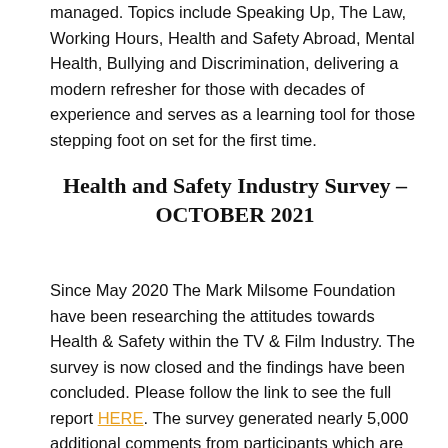managed. Topics include Speaking Up, The Law, Working Hours, Health and Safety Abroad, Mental Health, Bullying and Discrimination, delivering a modern refresher for those with decades of experience and serves as a learning tool for those stepping foot on set for the first time.
Health and Safety Industry Survey – OCTOBER 2021
Since May 2020 The Mark Milsome Foundation have been researching the attitudes towards Health & Safety within the TV & Film Industry. The survey is now closed and the findings have been concluded. Please follow the link to see the full report HERE. The survey generated nearly 5,000 additional comments from participants which are